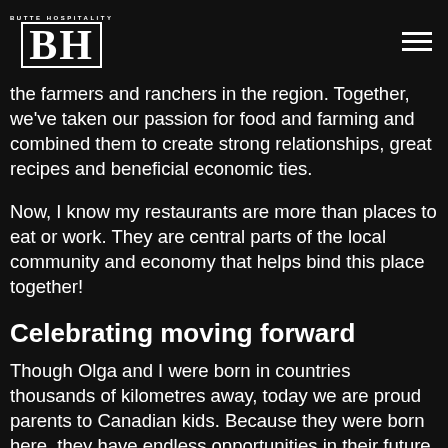BH BUTTE HOSPITALITY
the farmers and ranchers in the region. Together, we've taken our passion for food and farming and combined them to create strong relationships, great recipes and beneficial economic ties.
Now, I know my restaurants are more than places to eat or work. They are central parts of the local community and economy that helps bind this place together!
Celebrating moving forward
Though Olga and I were born in countries thousands of kilometres away, today we are proud parents to Canadian kids. Because they were born here, they have endless opportunities in their future. That is an